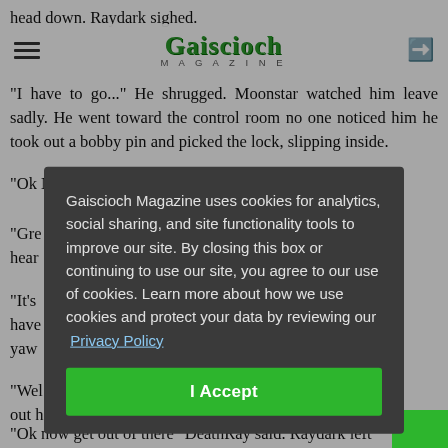head down. Raydark sighed.
Gaiscioch Magazine
“I have to go...” He shrugged. Moonstar watched him leave sadly. He went toward the control room no one noticed him he took out a bobby pin and picked the lock, slipping inside.
“Ok b…
“Gre… hear…
“It’s… have… yaw…
“Wel… out b… 10 m…
[Figure (screenshot): Cookie consent modal overlay on Gaiscioch Magazine website. Dark gray box with text: 'Gaiscioch Magazine uses cookies for analytics, social sharing, and site functionality tools to improve our site. By closing this box or continuing to use our site, you agree to our use of cookies. Learn more about how we use cookies and protect your data by reviewing our Privacy Policy' and a green 'I Accept' button.]
“Ok now get out of there” DeathRay said. Raydark left…